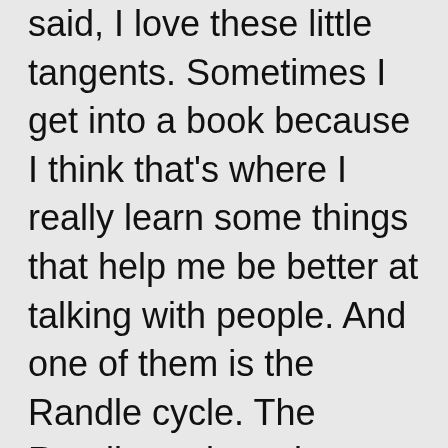said, I love these little tangents. Sometimes I get into a book because I think that's where I really learn some things that help me be better at talking with people. And one of them is the Randle cycle. The Randle cycle makes sense to me in a lot of ways because so many people will say, “I want to lose fat”, and then they’re